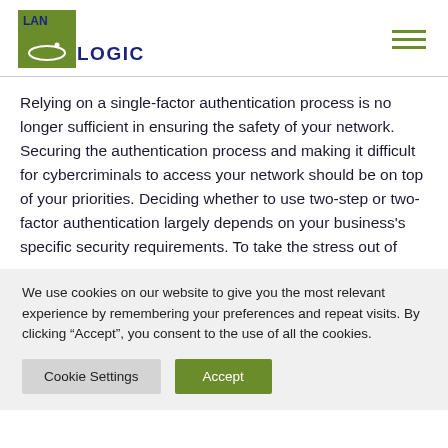[Figure (logo): LAN Logic company logo with green square, stylized smile graphic, and dark blue text]
Relying on a single-factor authentication process is no longer sufficient in ensuring the safety of your network. Securing the authentication process and making it difficult for cybercriminals to access your network should be on top of your priorities. Deciding whether to use two-step or two-factor authentication largely depends on your business's specific security requirements. To take the stress out of
We use cookies on our website to give you the most relevant experience by remembering your preferences and repeat visits. By clicking “Accept”, you consent to the use of all the cookies.
Cookie Settings   Accept